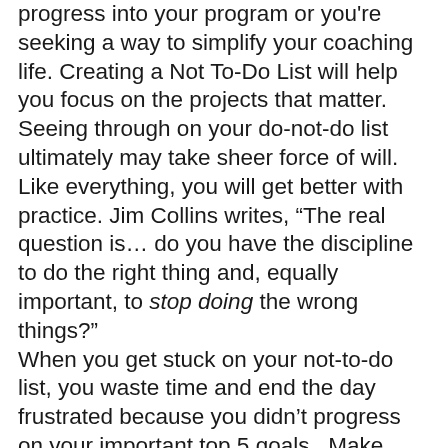progress into your program or you're seeking a way to simplify your coaching life. Creating a Not To-Do List will help you focus on the projects that matter. Seeing through on your do-not-do list ultimately may take sheer force of will. Like everything, you will get better with practice. Jim Collins writes, “The real question is… do you have the discipline to do the right thing and, equally important, to stop doing the wrong things?” When you get stuck on your not-to-do list, you waste time and end the day frustrated because you didn’t progress on your important top 5 goals.  Make your list and post it where you can always see it to remind yourself of what you should not be doing.  Enlist the support of co-workers to help keep you on